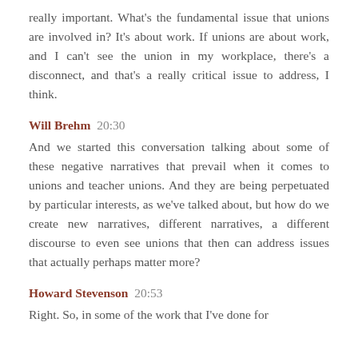really important. What's the fundamental issue that unions are involved in? It's about work. If unions are about work, and I can't see the union in my workplace, there's a disconnect, and that's a really critical issue to address, I think.
Will Brehm  20:30
And we started this conversation talking about some of these negative narratives that prevail when it comes to unions and teacher unions. And they are being perpetuated by particular interests, as we've talked about, but how do we create new narratives, different narratives, a different discourse to even see unions that then can address issues that actually perhaps matter more?
Howard Stevenson  20:53
Right. So, in some of the work that I've done for